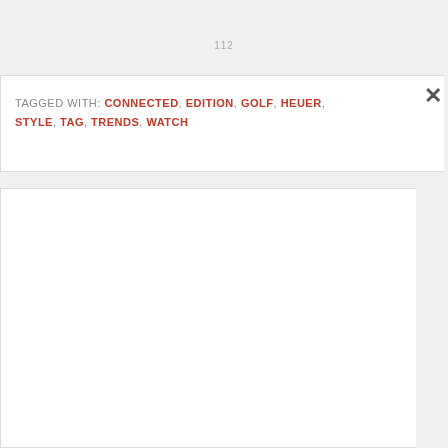112
TAGGED WITH: CONNECTED, EDITION, GOLF, HEUER, STYLE, TAG, TRENDS, WATCH